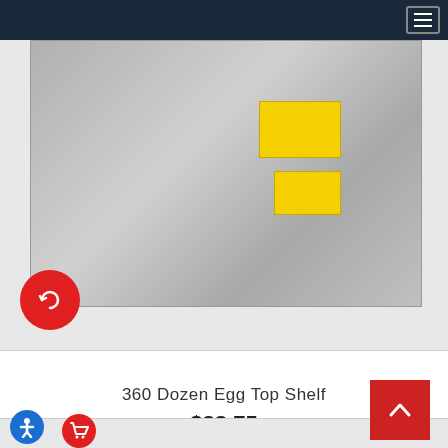Navigation bar with hamburger menu
[Figure (photo): Product photo of a 360 Dozen Egg Top Shelf — a stainless steel shelf unit with yellow caution labels visible. A red circular compare/refresh button is overlaid at the bottom-left of the image.]
360 Dozen Egg Top Shelf
$33.75
[Figure (other): Partial view of the next product card below, with a blue accessibility button and a red cart button visible at the bottom.]